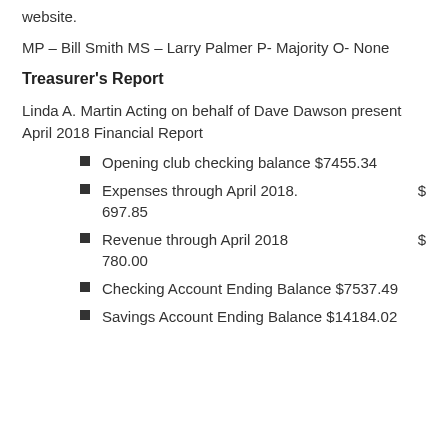website.
MP – Bill Smith MS – Larry Palmer P- Majority O- None
Treasurer's Report
Linda A. Martin Acting on behalf of Dave Dawson present April 2018 Financial Report
Opening club checking balance $7455.34
Expenses through April 2018. $ 697.85
Revenue through April 2018 $ 780.00
Checking Account Ending Balance $7537.49
Savings Account Ending Balance $14184.02